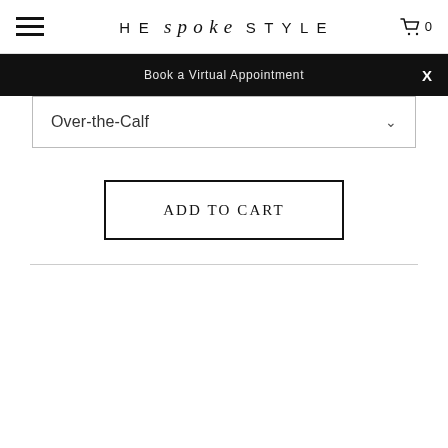HE spoke STYLE  0
Book a Virtual Appointment
Over-the-Calf
ADD TO CART